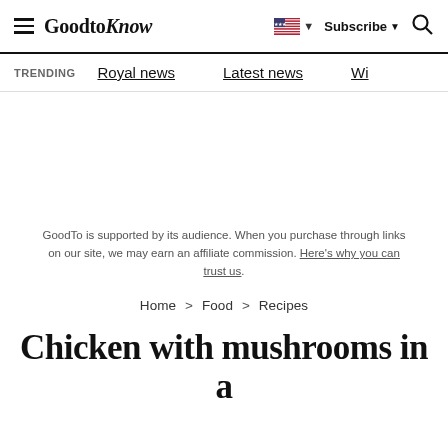GoodtoKnow — Subscribe — Search
TRENDING  Royal news  Latest news  Wi...
GoodTo is supported by its audience. When you purchase through links on our site, we may earn an affiliate commission. Here's why you can trust us.
Home > Food > Recipes
Chicken with mushrooms in a